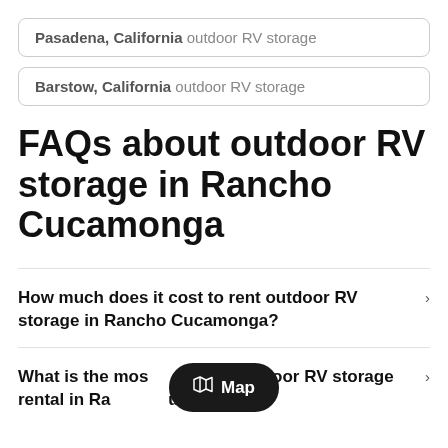Pasadena, California outdoor RV storage
Barstow, California outdoor RV storage
FAQs about outdoor RV storage in Rancho Cucamonga
How much does it cost to rent outdoor RV storage in Rancho Cucamonga?
What is the most affordable outdoor RV storage rental in Rancho Cucamonga?
[Figure (other): Map pill button overlay showing map icon and 'Map' label in dark rounded rectangle]